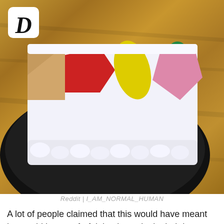[Figure (photo): A partially eaten decorated cake on a black round pan/plate sitting on a wooden surface. The cake has white frosting with colorful decorations including red, yellow, and pink shapes. A logo with the letter D in italic bold is visible in the top-left corner of the image.]
Reddit | I_AM_NORMAL_HUMAN
A lot of people claimed that this would have meant he would have to forfeit having cake in their house, and I can understand why. He surely has to do this to intentionally annoy people?
"This bread that I bought from Whole Foods... More like Hole Foods"